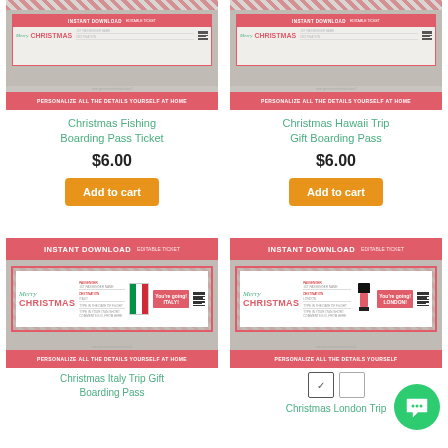[Figure (screenshot): Christmas Fishing Boarding Pass Ticket product image showing a printable boarding pass template]
[Figure (screenshot): Christmas Hawaii Trip Gift Boarding Pass product image showing a printable boarding pass template]
Christmas Fishing Boarding Pass Ticket
$6.00
Add to cart
Christmas Hawaii Trip Gift Boarding Pass
$6.00
Add to cart
[Figure (screenshot): Christmas Italy Trip Gift Boarding Pass product image with Merry Christmas boarding pass showing Italy flag and badge]
[Figure (screenshot): Christmas London Trip boarding pass product image with Merry Christmas boarding pass showing London guard]
Christmas Italy Trip Gift Boarding Pass
Christmas London Trip